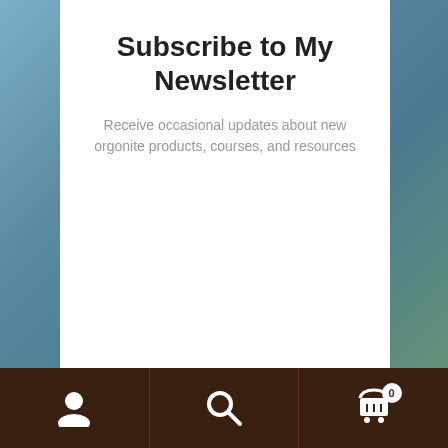Subscribe to My Newsletter
Receive occasional updates about new orgonite products, courses, and resources
Note: all products are sanitized prior to shipping in response to CoVid19. Receive a free Orgone Generator with every order placed over $100.00 until September 30th, 2022. Free gift is randomly selected and automatically added to your order. Dismiss
[Figure (screenshot): Dark brown navigation bar with three icons: user/account icon, search magnifying glass icon, and shopping cart icon with badge showing 0]